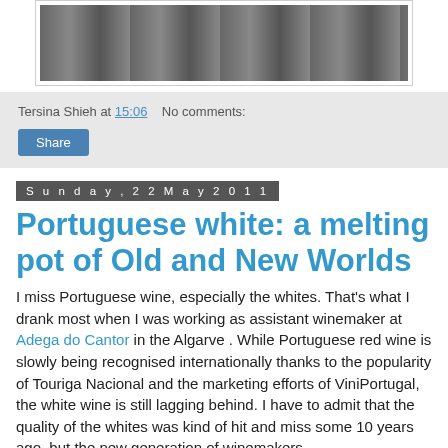[Figure (photo): Photo of wine bottles on a table, partially visible at top of page]
Tersina Shieh at 15:06    No comments:
Share
Sunday, 22 May 2011
Portuguese white: a melting pot of Old and New Worlds
I miss Portuguese wine, especially the whites. That's what I drank most when I was working as assistant winemaker at Adega do Cantor in the Algarve . While Portuguese red wine is slowly being recognised internationally thanks to the popularity of Touriga Nacional and the marketing efforts of ViniPortugal, the white wine is still lagging behind. I have to admit that the quality of the whites was kind of hit and miss some 10 years ago, but the new generation of winemakers,